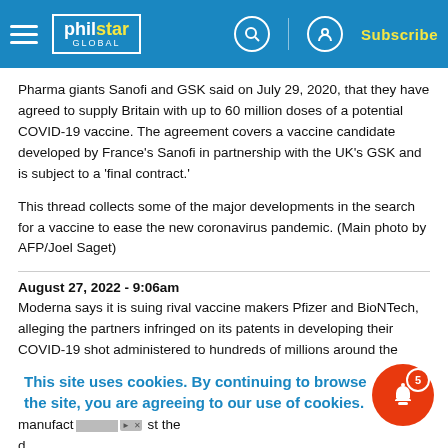philstar GLOBAL — Subscribe
Pharma giants Sanofi and GSK said on July 29, 2020, that they have agreed to supply Britain with up to 60 million doses of a potential COVID-19 vaccine. The agreement covers a vaccine candidate developed by France's Sanofi in partnership with the UK's GSK and is subject to a 'final contract.'
This thread collects some of the major developments in the search for a vaccine to ease the new coronavirus pandemic. (Main photo by AFP/Joel Saget)
August 27, 2022 - 9:06am
Moderna says it is suing rival vaccine makers Pfizer and BioNTech, alleging the partners infringed on its patents in developing their COVID-19 shot administered to hundreds of millions around the world.
The lawsuits set up a high-stakes showdown between the leading manufacturers of COVID-19 shots...
This site uses cookies. By continuing to browse the site, you are agreeing to our use of cookies.